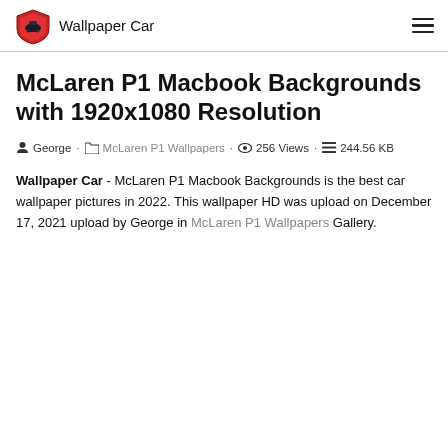Wallpaper Car
McLaren P1 Macbook Backgrounds with 1920x1080 Resolution
George · McLaren P1 Wallpapers · 256 Views · 244.56 KB
Wallpaper Car - McLaren P1 Macbook Backgrounds is the best car wallpaper pictures in 2022. This wallpaper HD was upload on December 17, 2021 upload by George in McLaren P1 Wallpapers Gallery.